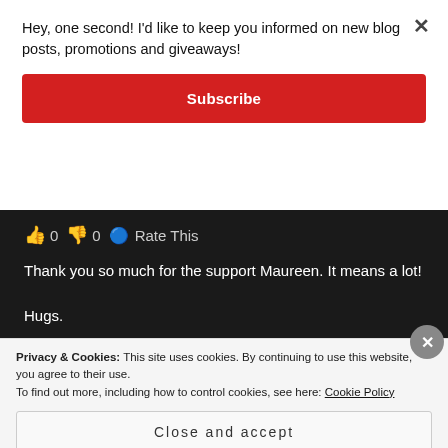Hey, one second! I'd like to keep you informed on new blog posts, promotions and giveaways!
Subscribe
👍 0 👎 0 ℹ Rate This
Thank you so much for the support Maureen. It means a lot!
Hugs.
Privacy & Cookies: This site uses cookies. By continuing to use this website, you agree to their use.
To find out more, including how to control cookies, see here: Cookie Policy
Close and accept